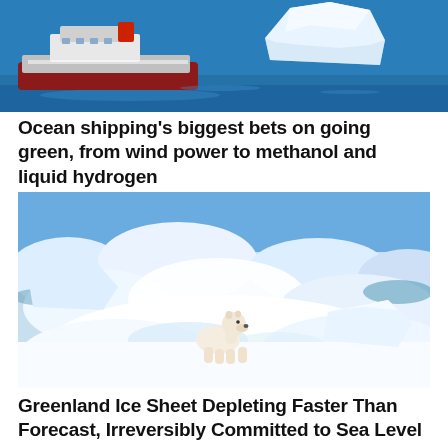[Figure (photo): A large blue and white research or expedition ship sailing on blue ocean water next to a large white iceberg]
Ocean shipping’s biggest bets on going green, from wind power to methanol and liquid hydrogen
[Figure (photo): A polar bear standing on sea ice surrounded by chunks of floating ice and icy water in the Arctic]
Greenland Ice Sheet Depleting Faster Than Forecast, Irreversibly Committed to Sea Level Rise